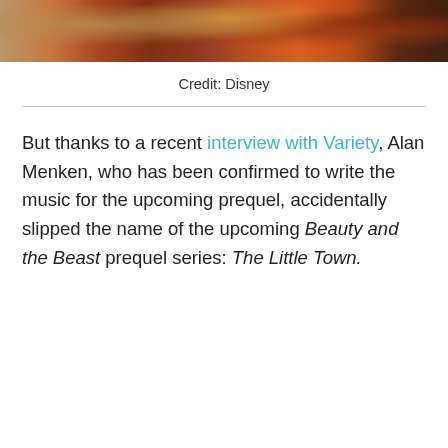[Figure (photo): Partial bottom crop of a photo showing people in costume/colorful clothing outdoors]
Credit: Disney
But thanks to a recent interview with Variety, Alan Menken, who has been confirmed to write the music for the upcoming prequel, accidentally slipped the name of the upcoming Beauty and the Beast prequel series: The Little Town.